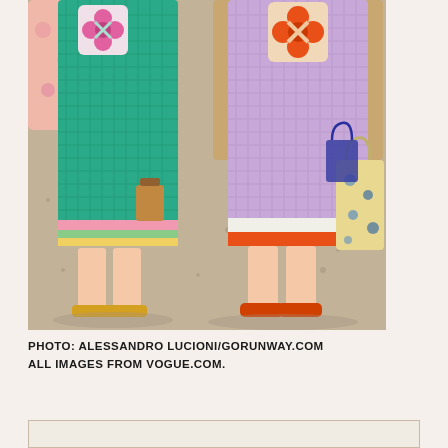[Figure (photo): Two models walking on gravel wearing crochet midi dresses. Left model wears a teal/green crochet dress with a pink floral motif at chest, pink floral-printed long-sleeve underneath, pink and green striped crochet hem, and yellow sandals, carrying a small orange/tan bag. Right model wears a lavender/purple crochet dress with an orange X/cross floral motif, beige cardigan, orange crochet hem, orange slide sandals, and carries a patterned tote bag with blue floral print.]
PHOTO: ALESSANDRO LUCIONI/GORUNWAY.COM
ALL IMAGES FROM VOGUE.COM.